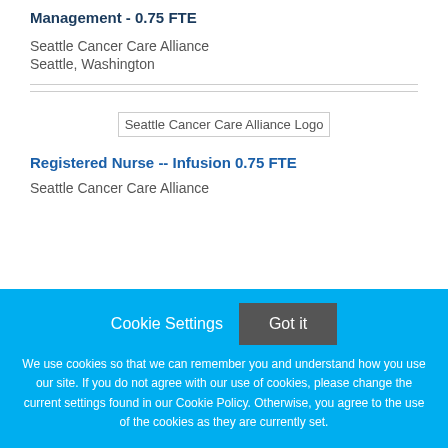Management - 0.75 FTE
Seattle Cancer Care Alliance
Seattle, Washington
[Figure (logo): Seattle Cancer Care Alliance Logo]
Registered Nurse -- Infusion 0.75 FTE
Seattle Cancer Care Alliance
Cookie Settings  Got it
We use cookies so that we can remember you and understand how you use our site. If you do not agree with our use of cookies, please change the current settings found in our Cookie Policy. Otherwise, you agree to the use of the cookies as they are currently set.